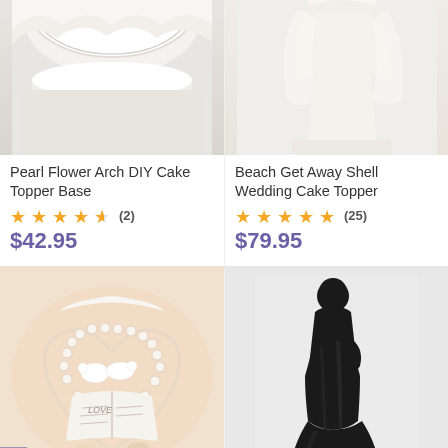[Figure (photo): Pearl Flower Arch DIY Cake Topper Base product photo - white lacy arch on white background, cropped from top]
Pearl Flower Arch DIY Cake Topper Base
★★★★½ (2)
$42.95
[Figure (photo): Beach Get Away Shell Wedding Cake Topper product photo - bride figurine on white background, cropped from top]
Beach Get Away Shell Wedding Cake Topper
★★★★★ (25)
$79.95
[Figure (photo): Love Verse Bible Cake Topper with Doves and Starfish Beach Accents - white doves on open Bible with pearl heart and seashells, warm pink/beige background]
Love Verse Bible Cake Topper with Doves and Starfish Beach Accents
[Figure (photo): Silhouette of Love Cake Topper Figurine (Black) - black ceramic bride and groom embracing figurine on white background]
Silhouette of Love Cake Topper Figurine (Black)